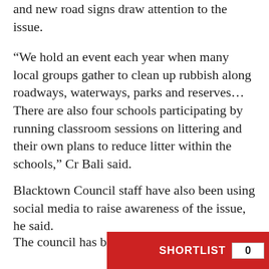and new road signs draw attention to the issue.
“We hold an event each year when many local groups gather to clean up rubbish along roadways, waterways, parks and reserves… There are also four schools participating by running classroom sessions on littering and their own plans to reduce litter within the schools,” Cr Bali said.
Blacktown Council staff have also been using social media to raise awareness of the issue, he said.
The council has been littering and the vo